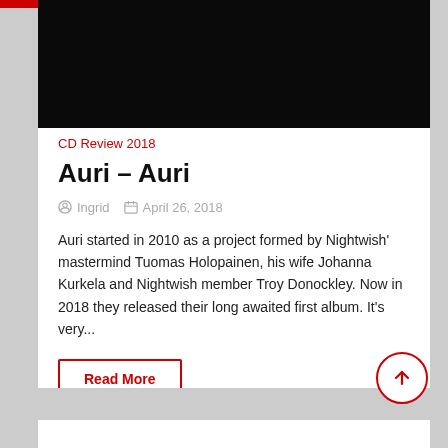[Figure (photo): Dark/black image area at top of article card]
CD Review 2018
Auri – Auri
Ingrid   April 26, 2018
Auri started in 2010 as a project formed by Nightwish' mastermind Tuomas Holopainen, his wife Johanna Kurkela and Nightwish member Troy Donockley. Now in 2018 they released their long awaited first album. It's very...
Read More